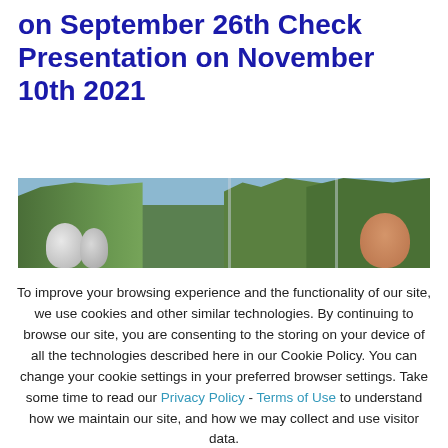on September 26th Check Presentation on November 10th 2021
[Figure (photo): Wide panoramic photo showing trees and foliage in the background, large round objects (possibly satellite dishes or balloons) in the lower left, a pole in the center, and a partial view of a person's head on the right side.]
To improve your browsing experience and the functionality of our site, we use cookies and other similar technologies. By continuing to browse our site, you are consenting to the storing on your device of all the technologies described here in our Cookie Policy. You can change your cookie settings in your preferred browser settings. Take some time to read our Privacy Policy - Terms of Use to understand how we maintain our site, and how we may collect and use visitor data.
Cookie settings   ACCEPT